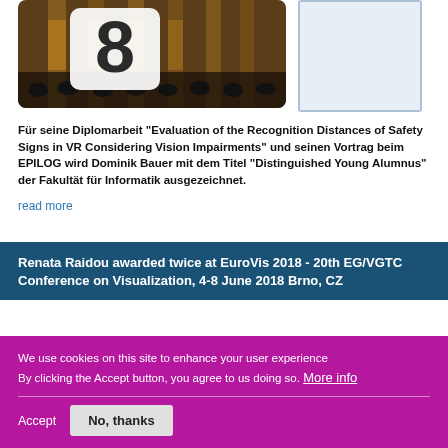[Figure (photo): Event hall photo with illuminated pillars and audience seating, overlaid with a large number '8' logo]
Für seine Diplomarbeit "Evaluation of the Recognition Distances of Safety Signs in VR Considering Vision Impairments" und seinen Vortrag beim EPILOG wird Dominik Bauer mit dem Titel "Distinguished Young Alumnus" der Fakultät für Informatik ausgezeichnet.
read more
Renata Raidou awarded twice at EuroVis 2018 - 20th EG/VGTC Conference on Visualization, 4-8 June 2018 Brno, CZ
We use cookies on this site to enhance your user experience
By clicking the Accept button, you agree to us doing so. More info